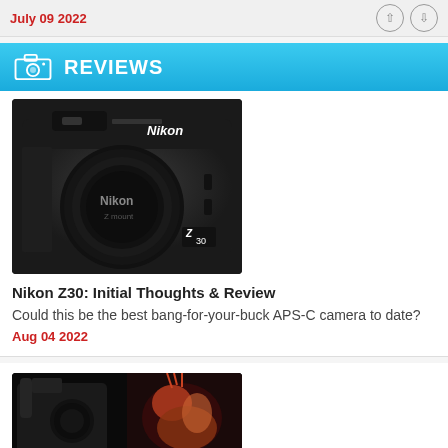July 09 2022
REVIEWS
[Figure (photo): Nikon Z30 mirrorless camera body with lens cap, front view on white background]
Nikon Z30: Initial Thoughts & Review
Could this be the best bang-for-your-buck APS-C camera to date?
Aug 04 2022
[Figure (photo): Camera on dark background with bird/animal photo behind it, partially visible]